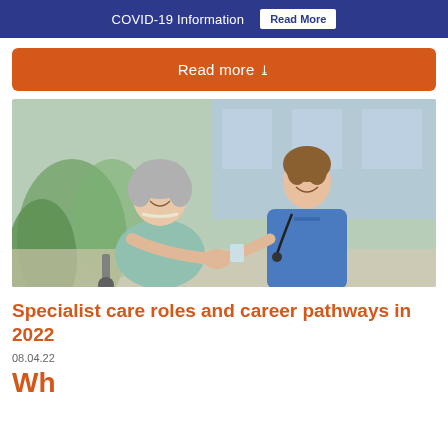COVID-19 Information  Read More
Read more »
[Figure (photo): A nurse in blue scrubs smiling and leaning toward an elderly woman in a light blue jacket who is seated, both appearing to interact warmly, with a blurred background of plants and a building.]
Specialist care roles and career pathways in 2022
08.04.22
Wh...